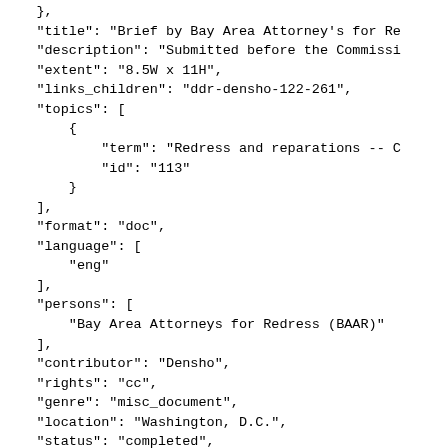},
    "title": "Brief by Bay Area Attorney's for Re
    "description": "Submitted before the Commissi
    "extent": "8.5W x 11H",
    "links_children": "ddr-densho-122-261",
    "topics": [
        {
            "term": "Redress and reparations -- C
            "id": "113"
        }
    ],
    "format": "doc",
    "language": [
        "eng"
    ],
    "persons": [
        "Bay Area Attorneys for Redress (BAAR)"
    ],
    "contributor": "Densho",
    "rights": "cc",
    "genre": "misc_document",
    "location": "Washington, D.C.",
    "status": "completed",
    "download_large": "ddr-densho-122-261-mezzani
},
{
    "id": "ddr-densho-1002-8-17",
    "model": "segment",